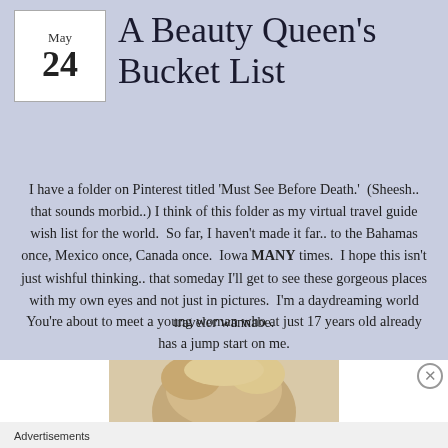May 24
A Beauty Queen's Bucket List
I have a folder on Pinterest titled 'Must See Before Death.'  (Sheesh.. that sounds morbid..) I think of this folder as my virtual travel guide wish list for the world.  So far, I haven't made it far.. to the Bahamas once, Mexico once, Canada once.  Iowa MANY times.  I hope this isn't just wishful thinking.. that someday I'll get to see these gorgeous places with my own eyes and not just in pictures.  I'm a daydreaming world traveler wannabe.
You're about to meet a young woman who at just 17 years old already has a jump start on me.
[Figure (photo): Top of a woman's head with blonde hair, partially cropped]
Advertisements